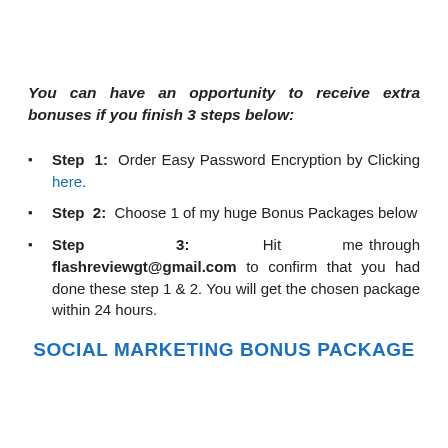You can have an opportunity to receive extra bonuses if you finish 3 steps below:
Step 1: Order Easy Password Encryption by Clicking here.
Step 2: Choose 1 of my huge Bonus Packages below
Step 3: Hit me through flashreviewgt@gmail.com to confirm that you had done these step 1 & 2. You will get the chosen package within 24 hours.
SOCIAL MARKETING BONUS PACKAGE